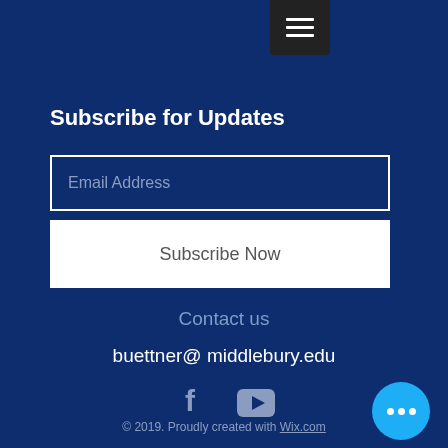[Figure (other): Hamburger menu button (three horizontal lines) on dark background in top area]
Subscribe for Updates
Email Address
Subscribe Now
Contact us
buettner@ middlebury.edu
[Figure (other): Facebook and YouTube social media icons]
© 2019. Proudly created with Wix.com